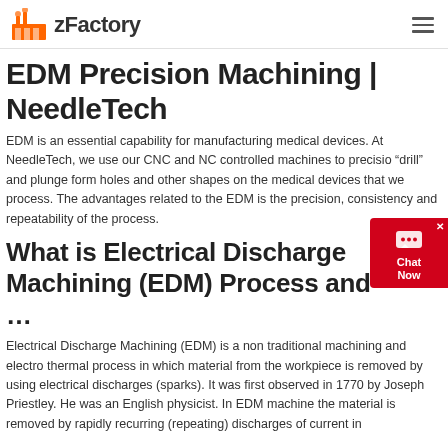zFactory
EDM Precision Machining | NeedleTech
EDM is an essential capability for manufacturing medical devices. At NeedleTech, we use our CNC and NC controlled machines to precision “drill” and plunge form holes and other shapes on the medical devices that we process. The advantages related to the EDM is the precision, consistency and repeatability of the process.
What is Electrical Discharge Machining (EDM) Process and ...
Electrical Discharge Machining (EDM) is a non traditional machining and electro thermal process in which material from the workpiece is removed by using electrical discharges (sparks). It was first observed in 1770 by Joseph Priestley. He was an English physicist. In EDM machine the material is removed by rapidly recurring (repeating) discharges of current in